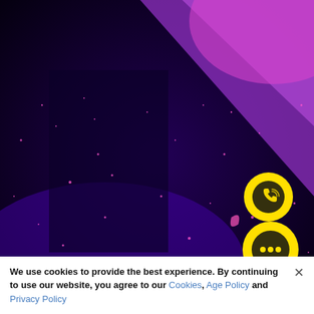[Figure (photo): Abstract dark background with purple and magenta/pink hues, scattered glowing particles and spots on a deep navy-purple surface with diagonal bright purple streak in upper right area]
[Figure (logo): Yellow circular button with a Viber phone/wifi icon in black, representing a Viber contact widget]
[Figure (logo): Yellow circular button with three dots (menu/chat icon) in black, representing a chat widget button]
We use cookies to provide the best experience. By continuing to use our website, you agree to our Cookies, Age Policy and Privacy Policy